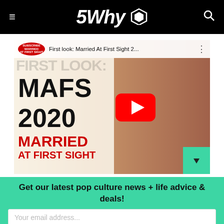5Why
[Figure (screenshot): YouTube video thumbnail for 'First look: Married At First Sight 2...' showing MAFS 2020 text on left and a couple kissing on right, with red YouTube play button overlay]
Get our latest pop culture news + life advice & deals!
Your email address...
SIGN UP!